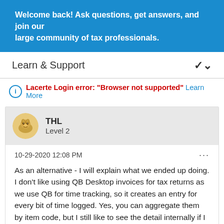Welcome back! Ask questions, get answers, and join our large community of tax professionals.
Learn & Support
Lacerte Login error: "Browser not supported" Learn More
THL
Level 2
10-29-2020 12:08 PM
As an alternative - I will explain what we ended up doing.  I don't like using QB Desktop invoices for tax returns as we use QB for time tracking, so it creates an entry for every bit of time logged.  Yes, you can aggregate them by item code, but I still like to see the detail internally if I want to look back at the bill.  So we prefer to use Lacerte invoices for presentation purposes